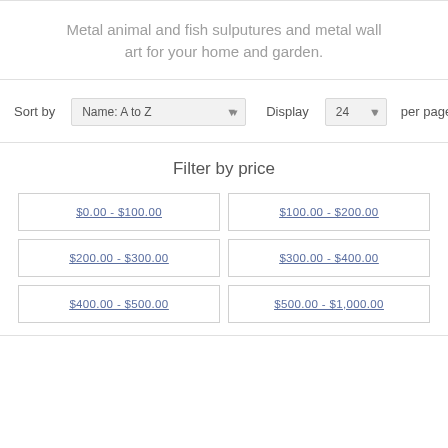Metal animal and fish sulputures and metal wall art for your home and garden.
Sort by  Name: A to Z  Display  24  per page
Filter by price
$0.00 - $100.00
$100.00 - $200.00
$200.00 - $300.00
$300.00 - $400.00
$400.00 - $500.00
$500.00 - $1,000.00